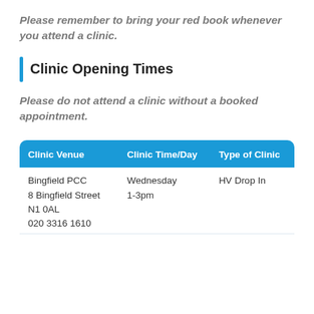Please remember to bring your red book whenever you attend a clinic.
Clinic Opening Times
Please do not attend a clinic without a booked appointment.
| Clinic Venue | Clinic Time/Day | Type of Clinic |
| --- | --- | --- |
| Bingfield PCC
8 Bingfield Street
N1 0AL
020 3316 1610 | Wednesday
1-3pm | HV Drop In |